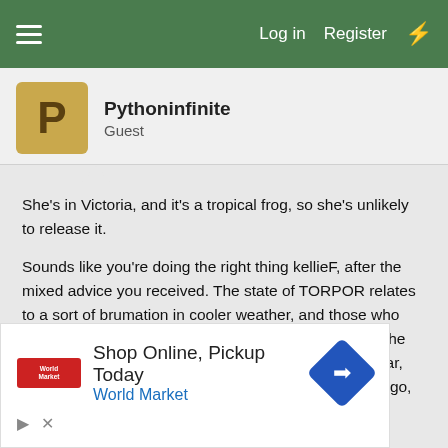≡  Log in  Register  ⚡
Pythoninfinite
Guest
She's in Victoria, and it's a tropical frog, so she's unlikely to release it.

Sounds like you're doing the right thing kellieF, after the mixed advice you received. The state of TORPOR relates to a sort of brumation in cooler weather, and those who live in the tropics may be able to tell you more about the activity levels of frogs in the wild at this time of the year, although I was in Derby, WA, a few couple of weeks ago, and GTFs were fairly active there on
[Figure (infographic): Advertisement banner: Shop Online, Pickup Today - World Market, with navigation arrow icon and World Market logo in red]